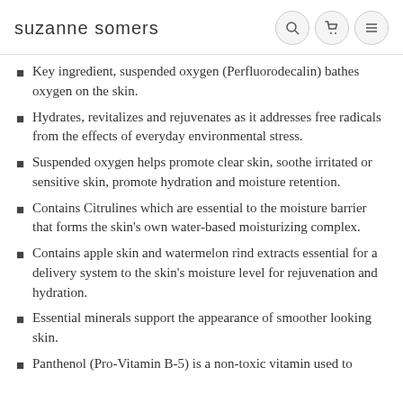suzanne somers
Key ingredient, suspended oxygen (Perfluorodecalin) bathes oxygen on the skin.
Hydrates, revitalizes and rejuvenates as it addresses free radicals from the effects of everyday environmental stress.
Suspended oxygen helps promote clear skin, soothe irritated or sensitive skin, promote hydration and moisture retention.
Contains Citrulines which are essential to the moisture barrier that forms the skin's own water-based moisturizing complex.
Contains apple skin and watermelon rind extracts essential for a delivery system to the skin's moisture level for rejuvenation and hydration.
Essential minerals support the appearance of smoother looking skin.
Panthenol (Pro-Vitamin B-5) is a non-toxic vitamin used to